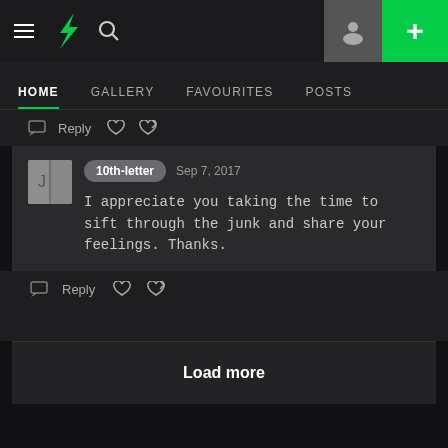DeviantArt navigation bar with hamburger menu, logo, search, avatar, and plus button
HOME | GALLERY | FAVOURITES | POSTS
Reply ♡ ↩
10th-letter  Sep 7, 2017
I appreciate you taking the time to sift through the junk and share your feelings. Thanks.
Reply ♡ ↩
Load more